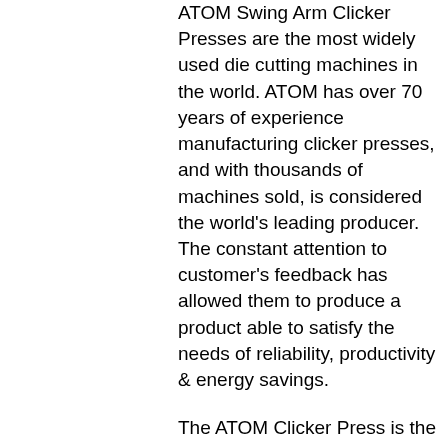ATOM Swing Arm Clicker Presses are the most widely used die cutting machines in the world. ATOM has over 70 years of experience manufacturing clicker presses, and with thousands of machines sold, is considered the world's leading producer. The constant attention to customer's feedback has allowed them to produce a product able to satisfy the needs of reliability, productivity & energy savings.

The ATOM Clicker Press is the ideal solution for die cutting sheets of material with small cutting dies. To guarantee maximum visibility of the material, the swing beam can be easily moved left-right by the operator in order to collect the die cut pieces and re-position the tool for the next cut. The ATOM press is quite simple to operate; simply place the sheet of